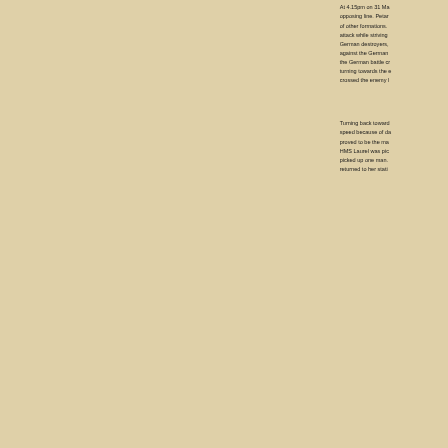At 4.15pm on 31 Ma opposing line. Petar of other formations. attack while striving German destroyers, against the German the German battle cr turning towards the e crossed the enemy l
Turning back toward speed because of da proved to be the ma HMS Laurel was pic picked up one man. returned to her stati